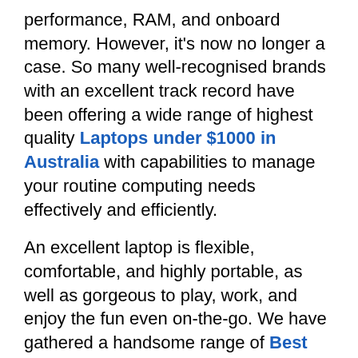performance, RAM, and onboard memory. However, it's now no longer a case. So many well-recognised brands with an excellent track record have been offering a wide range of highest quality Laptops under $1000 in Australia with capabilities to manage your routine computing needs effectively and efficiently.
An excellent laptop is flexible, comfortable, and highly portable, as well as gorgeous to play, work, and enjoy the fun even on-the-go. We have gathered a handsome range of Best Budget Laptops under $1000 in Australia. So, if you still don't know what's best for you, we have given all the details here on this single page that will help you find a laptop online without any hassle.
1: Asus VivoBook 15 ($722-1099)